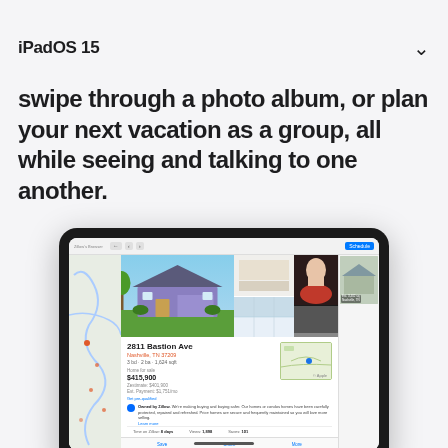iPadOS 15
Share your screen with everyone in your FaceTime call. Browse apartment listings, swipe through a photo album, or plan your next vacation as a group, all while seeing and talking to one another.
[Figure (screenshot): iPad showing a real estate app (Zillow) with property listing for 2811 Bastion Ave, Nashville TN 37209, price $415,900, displayed alongside a FaceTime call with a person in a pink shirt. The iPad screen shows property photos, a map, and listing details.]